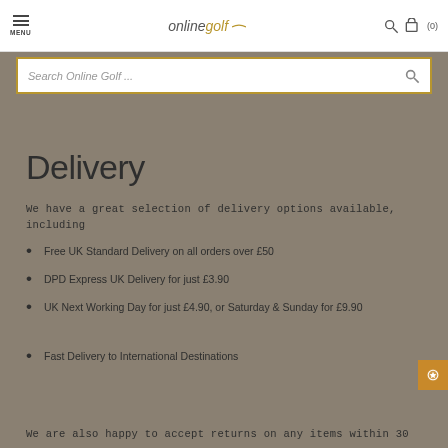MENU | onlinegolf | (0)
[Figure (screenshot): Search bar with placeholder text 'Search Online Golf ...' and search icon]
Delivery
We have a great selection of delivery options available, including
Free UK Standard Delivery on all orders over £50
DPD Express UK Delivery for just £3.90
UK Next Working Day for just £4.90, or Saturday & Sunday for £9.90
Fast Delivery to International Destinations
We are also happy to accept returns on any items within 30